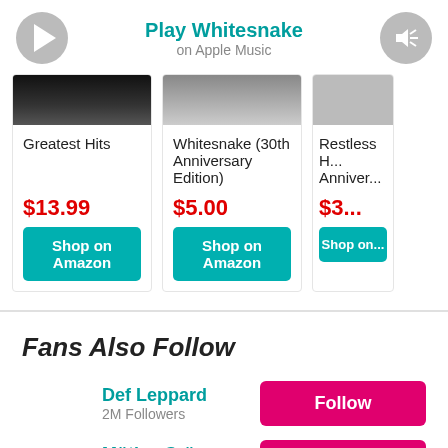Play Whitesnake on Apple Music
[Figure (screenshot): Album cards for Greatest Hits ($13.99), Whitesnake 30th Anniversary Edition ($5.00), and partial Restless... Anniversary]
Fans Also Follow
Def Leppard
2M Followers
Mötley Crüe
1M Followers